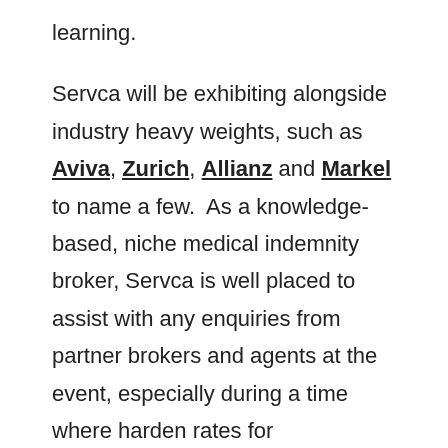learning.
Servca will be exhibiting alongside industry heavy weights, such as Aviva, Zurich, Allianz and Markel to name a few.  As a knowledge-based, niche medical indemnity broker, Servca is well placed to assist with any enquiries from partner brokers and agents at the event, especially during a time where harden rates for professional indemnity risks make it challenging for regional brokers.
The conference will span over the events whole two days, giving the microphone to figures such as: David Lord Hunt (Chairman of BIBA),